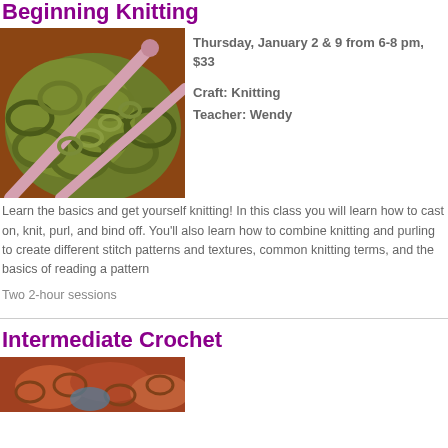Beginning Knitting
[Figure (photo): Close-up photo of green yarn with knitting needles]
Thursday, January 2 & 9 from 6-8 pm, $33
Craft: Knitting
Teacher: Wendy
Learn the basics and get yourself knitting! In this class you will learn how to cast on, knit, purl, and bind off. You'll also learn how to combine knitting and purling to create different stitch patterns and textures, common knitting terms, and the basics of reading a pattern
Two 2-hour sessions
Intermediate Crochet
[Figure (photo): Photo of crochet project in progress]